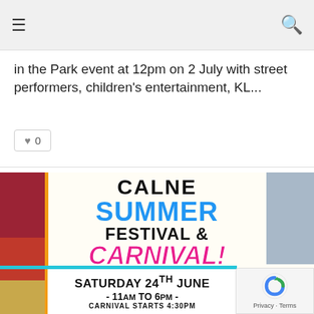≡  [navigation]  🔍
in the Park event at 12pm on 2 July with street performers, children's entertainment, KL...
♥ 0
[Figure (illustration): Calne Summer Festival & Carnival promotional poster. Shows puppet show imagery on the left strip, church/sky on the right, with bold text: CALNE SUMMER FESTIVAL & CARNIVAL! SATURDAY 24TH JUNE - 11AM TO 6PM - CARNIVAL STARTS 4:30PM]
SATURDAY 24TH JUNE - 11AM TO 6PM - CARNIVAL STARTS 4:30PM